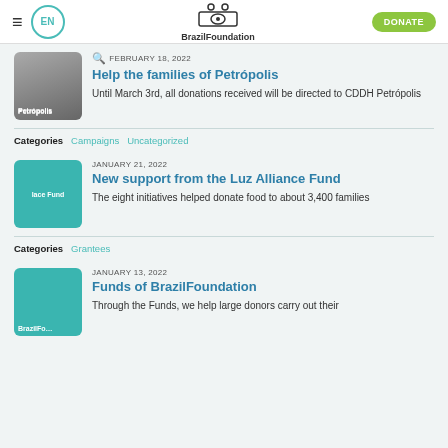EN | BrazilFoundation | DONATE
FEBRUARY 18, 2022
Help the families of Petrópolis
Until March 3rd, all donations received will be directed to CDDH Petrópolis
Categories  Campaigns  Uncategorized
JANUARY 21, 2022
New support from the Luz Alliance Fund
The eight initiatives helped donate food to about 3,400 families
Categories  Grantees
JANUARY 13, 2022
Funds of BrazilFoundation
Through the Funds, we help large donors carry out their